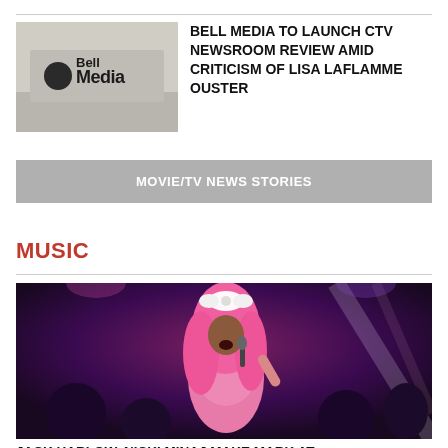[Figure (photo): Bell Media sign on a building exterior, light grey stone with black Bell Media text logo]
BELL MEDIA TO LAUNCH CTV NEWSROOM REVIEW AMID CRITICISM OF LISA LAFLAMME OUSTER
MOVIE/TV NEWS STORIES
MUSIC
[Figure (photo): Woman with long pink hair wearing a pink sparkly outfit and a white bow headband, singing into a microphone on stage with purple lights and a crowd behind her]
JACK HARLOW, NICKI MINAJ MAKE MARK AT